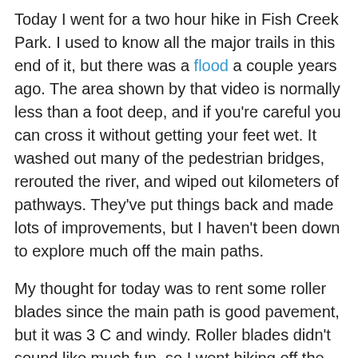Today I went for a two hour hike in Fish Creek Park. I used to know all the major trails in this end of it, but there was a flood a couple years ago. The area shown by that video is normally less than a foot deep, and if you're careful you can cross it without getting your feet wet. It washed out many of the pedestrian bridges, rerouted the river, and wiped out kilometers of pathways. They've put things back and made lots of improvements, but I haven't been down to explore much off the main paths.
My thought for today was to rent some roller blades since the main path is good pavement, but it was 3 C and windy. Roller blades didn't sound like much fun, so I went hiking off the main path, exploring areas I hadn't been in a long time, and in some cases, had never been. Lots to see. Up and down the hills. Surprised four big white tailed deer. Had a really good time. Should have brought the camera. (Yeah I know Julie, it's hypocritical of me to break your stones about not posting photos.) Stretched and rollered after. My calves are really feeling it today, especially the left one.
Yoga last night was excellent! Fiona has been giving us